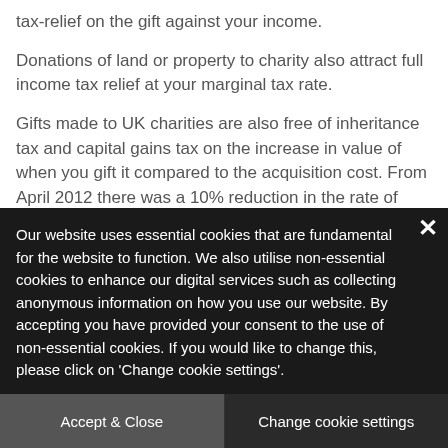tax-relief on the gift against your income.
Donations of land or property to charity also attract full income tax relief at your marginal tax rate.
Gifts made to UK charities are also free of inheritance tax and capital gains tax on the increase in value of when you gift it compared to the acquisition cost. From April 2012 there was a 10% reduction in the rate of inheritance tax from 40% to 36% on an estate where
Our website uses essential cookies that are fundamental for the website to function. We also utilise non-essential cookies to enhance our digital services such as collecting anonymous information on how you use our website. By accepting you have provided your consent to the use of non-essential cookies. If you would like to change this, please click on 'Change cookie settings'.
Accept & Close
Change cookie settings